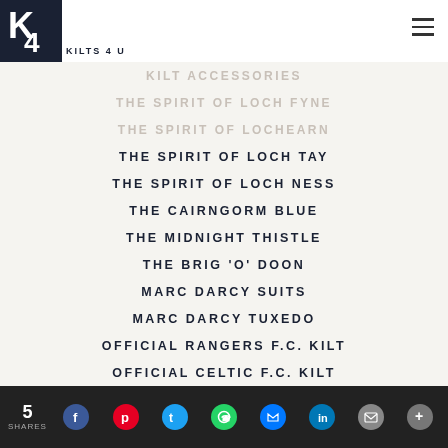Kilts 4 U logo and hamburger menu
KILT ACCESSORIES
THE SPIRIT OF LOCH FYNE
THE SPIRIT OF LOCHEARN
THE SPIRIT OF LOCH TAY
THE SPIRIT OF LOCH NESS
THE CAIRNGORM BLUE
THE MIDNIGHT THISTLE
THE BRIG 'O' DOON
MARC DARCY SUITS
MARC DARCY TUXEDO
OFFICIAL RANGERS F.C. KILT
OFFICIAL CELTIC F.C. KILT
Info & Assistance
AWARDS & NOMINATIONS
SUITS
5 SHARES | Facebook | Pinterest | Twitter | WhatsApp | Messenger | LinkedIn | Email | More